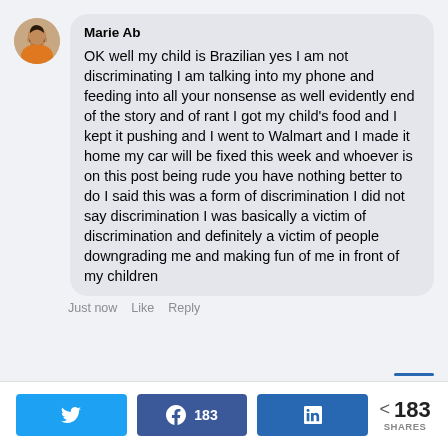[Figure (photo): Profile photo of Marie Ab — woman with orange/gold clothing]
Marie Ab
OK well my child is Brazilian yes I am not discriminating I am talking into my phone and feeding into all your nonsense as well evidently end of the story and of rant I got my child's food and I kept it pushing and I went to Walmart and I made it home my car will be fixed this week and whoever is on this post being rude you have nothing better to do I said this was a form of discrimination I did not say discrimination I was basically a victim of discrimination and definitely a victim of people downgrading me and making fun of me in front of my children
Just now  Like  Reply